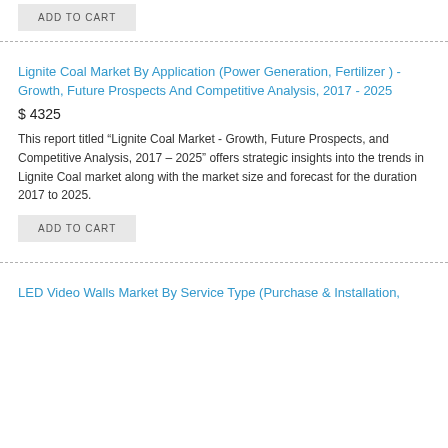ADD TO CART
Lignite Coal Market By Application (Power Generation, Fertilizer ) - Growth, Future Prospects And Competitive Analysis, 2017 - 2025
$ 4325
This report titled “Lignite Coal Market - Growth, Future Prospects, and Competitive Analysis, 2017 – 2025” offers strategic insights into the trends in Lignite Coal market along with the market size and forecast for the duration 2017 to 2025.
ADD TO CART
LED Video Walls Market By Service Type (Purchase & Installation,